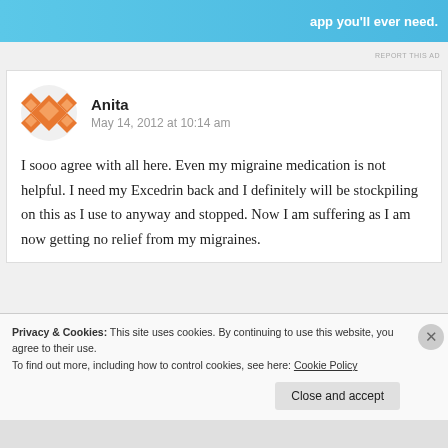[Figure (illustration): Blue advertisement banner with white text 'app you'll ever need.' and small icons]
REPORT THIS AD
Anita
May 14, 2012 at 10:14 am
I sooo agree with all here. Even my migraine medication is not helpful. I need my Excedrin back and I definitely will be stockpiling on this as I use to anyway and stopped. Now I am suffering as I am now getting no relief from my migraines.
Privacy & Cookies: This site uses cookies. By continuing to use this website, you agree to their use.
To find out more, including how to control cookies, see here: Cookie Policy
Close and accept